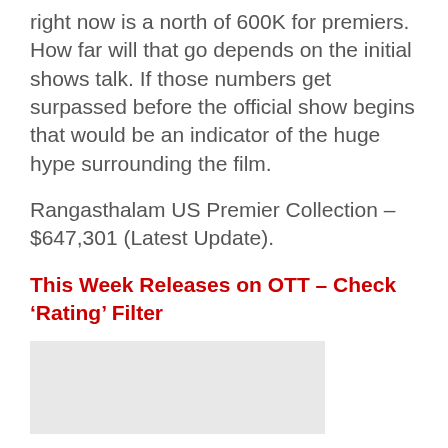right now is a north of 600K for premiers. How far will that go depends on the initial shows talk. If those numbers get surpassed before the official show begins that would be an indicator of the huge hype surrounding the film.
Rangasthalam US Premier Collection – $647,301 (Latest Update).
This Week Releases on OTT – Check 'Rating' Filter
[Figure (other): Light gray rectangular image placeholder]